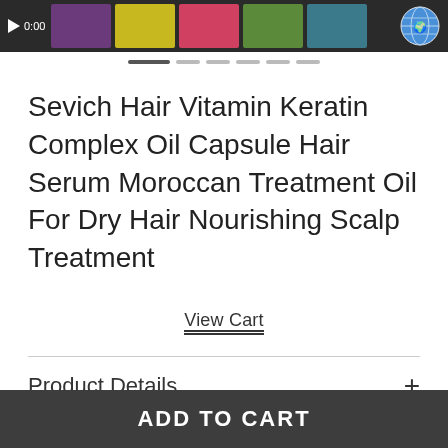[Figure (screenshot): Top image strip showing product thumbnails with a play button and timer showing 0:00, plus a globe icon on the right]
Sevich Hair Vitamin Keratin Complex Oil Capsule Hair Serum Moroccan Treatment Oil For Dry Hair Nourishing Scalp Treatment
View Cart
Product Details
Item Specifics
ADD TO CART